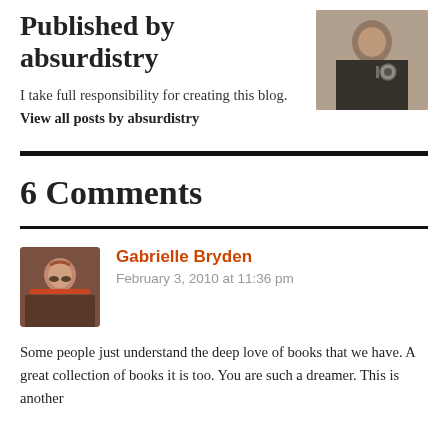Published by absurdistry
[Figure (photo): Author photo: a man in dark clothing wearing a watch, partially cropped, with a guitar and diploma visible in background]
I take full responsibility for creating this blog. View all posts by absurdistry
6 Comments
[Figure (photo): Comment avatar: a woman with red hair wearing sunglasses, outdoors]
Gabrielle Bryden
February 3, 2010 at 11:36 pm
Some people just understand the deep love of books that we have. A great collection of books it is too. You are such a dreamer. This is another